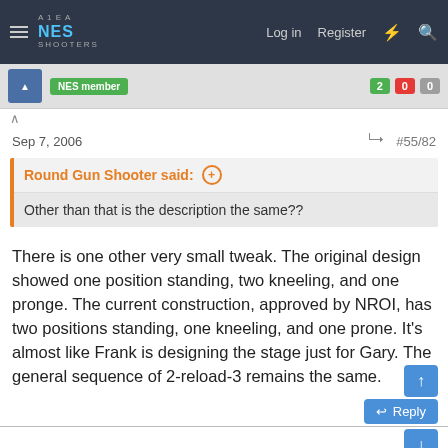[Figure (screenshot): NES Shooters forum navigation bar with hamburger menu, logo, Log in, Register, lightning bolt, and search icons]
NES SHOOTERS — Log in  Register
NES member (badge)
Sep 7, 2006   #55/82
Round Gun Shooter said:  ⊕
Other than that is the description the same??
There is one other very small tweak. The original design showed one position standing, two kneeling, and one pronge. The current construction, approved by NROI, has two positions standing, one kneeling, and one prone. It's almost like Frank is designing the stage just for Gary. The general sequence of 2-reload-3 remains the same.
38supermatt   Rating - 100%
3   0   0